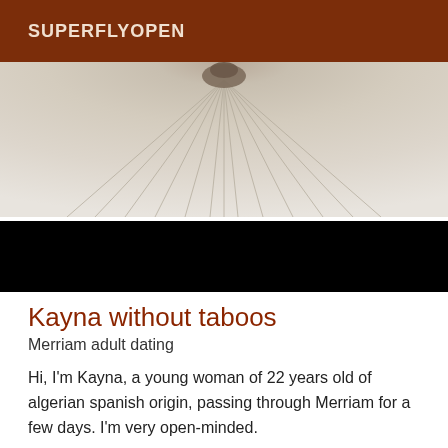SUPERFLYOPEN
[Figure (photo): Close-up photo of white bed sheets with radiating folds, with a small dark element visible at the top center. The lower portion of the image is blacked out.]
Kayna without taboos
Merriam adult dating
Hi, I'm Kayna, a young woman of 22 years old of algerian spanish origin, passing through Merriam for a few days. I'm very open-minded.